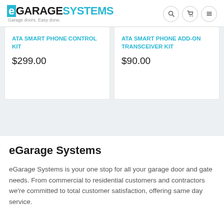eGarage Systems — Garage doors. Easy done.
ATA SMART PHONE CONTROL KIT
$299.00
ATA SMART PHONE ADD-ON TRANSCEIVER KIT
$90.00
eGarage Systems
eGarage Systems is your one stop for all your garage door and gate needs. From commercial to residential customers and contractors we're committed to total customer satisfaction, offering same day service.